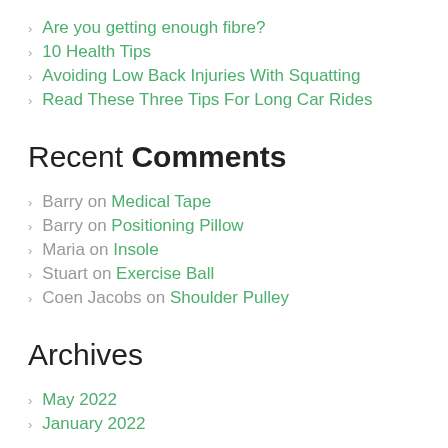Are you getting enough fibre?
10 Health Tips
Avoiding Low Back Injuries With Squatting
Read These Three Tips For Long Car Rides
Recent Comments
Barry on Medical Tape
Barry on Positioning Pillow
Maria on Insole
Stuart on Exercise Ball
Coen Jacobs on Shoulder Pulley
Archives
May 2022
January 2022